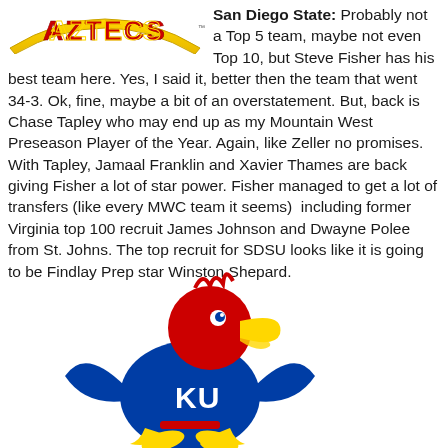[Figure (logo): San Diego State Aztecs logo - red and gold lettering with gold border]
San Diego State: Probably not a Top 5 team, maybe not even Top 10, but Steve Fisher has his best team here. Yes, I said it, better then the team that went 34-3. Ok, fine, maybe a bit of an overstatement. But, back is Chase Tapley who may end up as my Mountain West Preseason Player of the Year. Again, like Zeller no promises. With Tapley, Jamaal Franklin and Xavier Thames are back giving Fisher a lot of star power. Fisher managed to get a lot of transfers (like every MWC team it seems)  including former Virginia top 100 recruit James Johnson and Dwayne Polee from St. Johns. The top recruit for SDSU looks like it is going to be Findlay Prep star Winston Shepard.
[Figure (logo): Kansas Jayhawks KU mascot logo - cartoon Jayhawk bird with red head, yellow beak, blue body, KU letters on chest]